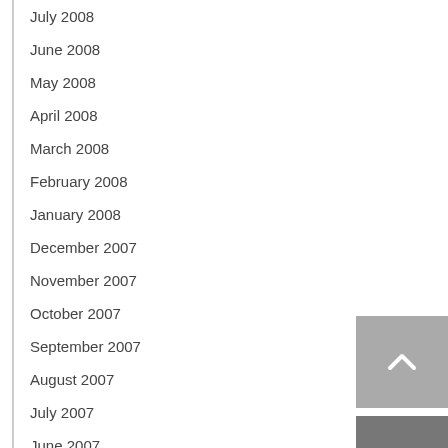July 2008
June 2008
May 2008
April 2008
March 2008
February 2008
January 2008
December 2007
November 2007
October 2007
September 2007
August 2007
July 2007
June 2007
May 2007
April 2007
March 2007
[Figure (other): Scroll-to-top button (up arrow, grey background)]
[Figure (other): Email/contact button (envelope icon, dark grey background)]